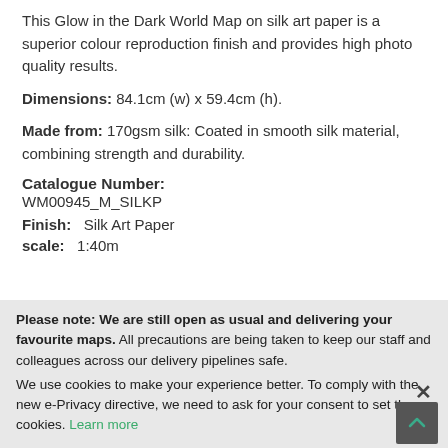This Glow in the Dark World Map on silk art paper is a superior colour reproduction finish and provides high photo quality results.
Dimensions: 84.1cm (w) x 59.4cm (h).
Made from: 170gsm silk: Coated in smooth silk material, combining strength and durability.
Catalogue Number:
WM00945_M_SILKP
Finish:   Silk Art Paper
scale:   1:40m
Please note: We are still open as usual and delivering your favourite maps. All precautions are being taken to keep our staff and colleagues across our delivery pipelines safe.
We use cookies to make your experience better. To comply with the new e-Privacy directive, we need to ask for your consent to set the cookies. Learn more